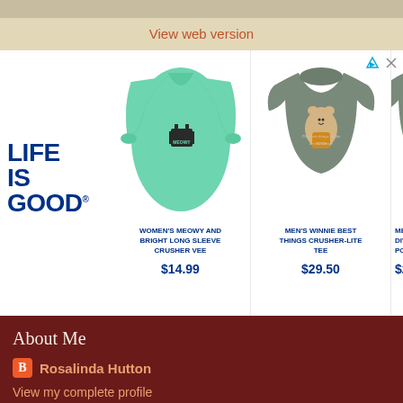View web version
[Figure (screenshot): Life is Good advertisement banner showing three t-shirts: Women's Meowy and Bright Long Sleeve Crusher Vee ($14.99), Men's Winnie Best Things Crusher-Lite Tee ($29.50), and Men's (partially visible) with prices.]
About Me
Rosalinda Hutton
View my complete profile
About Me